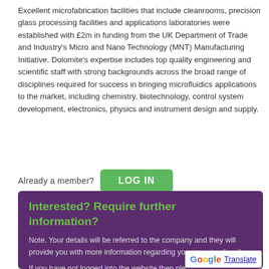Excellent microfabrication facilities that include cleanrooms, precision glass processing facilities and applications laboratories were established with £2m in funding from the UK Department of Trade and Industry's Micro and Nano Technology (MNT) Manufacturing Initiative. Dolomite's expertise includes top quality engineering and scientific staff with strong backgrounds across the broad range of disciplines required for success in bringing microfluidics applications to the market, including chemistry, biotechnology, control system development, electronics, physics and instrument design and supply.
Already a member? LOG IN
Interested? Require further information?
Note. Your details will be referred to the company and they will provide you with more information regarding your enquiry directly
If you have not logged into the website then ple...